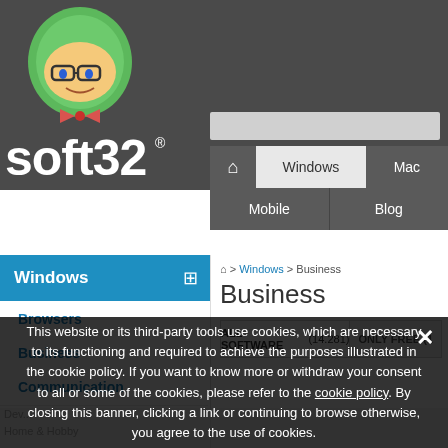[Figure (screenshot): Soft32 website screenshot showing navigation header with logo, Windows/Mac/Mobile/Blog nav tabs, Windows category sidebar with Browsers, Business, Communication links, and Business section with ALL SOFTWARE (14.281) filter bar. A cookie consent overlay covers the lower portion of the page.]
soft32
Windows | Mac | Mobile | Blog
Windows
Browsers
Business
Communication
Home > Windows > Business
Business
ALL SOFTWARE (14.281)   ONLY FREE (1...
This website or its third-party tools use cookies, which are necessary to its functioning and required to achieve the purposes illustrated in the cookie policy. If you want to know more or withdraw your consent to all or some of the cookies, please refer to the cookie policy. By closing this banner, clicking a link or continuing to browse otherwise, you agree to the use of cookies.